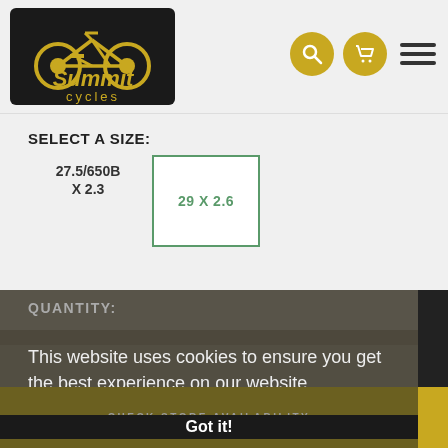[Figure (logo): Summit Cycles logo - yellow/gold bicycle and text on dark background]
SELECT A SIZE:
27.5/650B X 2.3
29 X 2.6
QUANTITY:
This website uses cookies to ensure you get the best experience on our website.
Learn more
ADD TO BASKET
Got it!
CHECK STORE AVAILABILITY